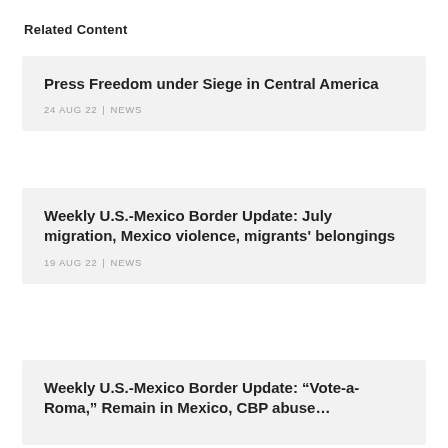Related Content
Press Freedom under Siege in Central America
24 AUG 22 | NEWS
Weekly U.S.-Mexico Border Update: July migration, Mexico violence, migrants' belongings
19 AUG 22 | NEWS
Weekly U.S.-Mexico Border Update: “Vote-a-Rama,” Remain in Mexico, CBP abuse…